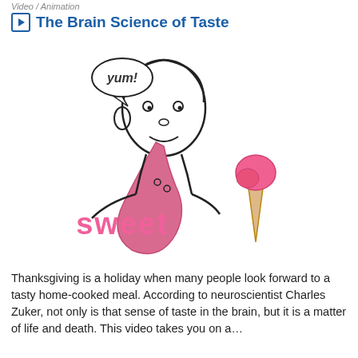Video / Animation
The Brain Science of Taste
[Figure (illustration): Cartoon illustration of a person licking an ice cream cone with a speech bubble saying 'yum!' and the word 'sweet' in pink below]
Thanksgiving is a holiday when many people look forward to a tasty home-cooked meal. According to neuroscientist Charles Zuker, not only is that sense of taste in the brain, but it is a matter of life and death. This video takes you on a…
Video / Animation
Can Pheromones Get You A Date?
[Figure (photo): Grid of 6 close-up photos of human noses, 3 columns by 2 rows, showing various skin tones]